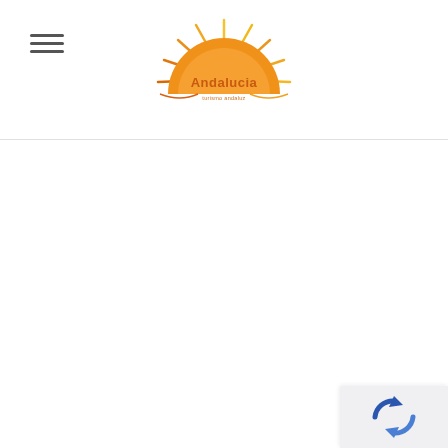[Figure (logo): Andalucia travel/tourism logo: a half-sun with orange and yellow rays above an orange semicircle, with 'Andalucia' text and subtitle beneath it.]
[Figure (logo): Bottom-right corner: partial view of a blue reCAPTCHA widget logo (two arrows forming a circle) on a light grey background.]